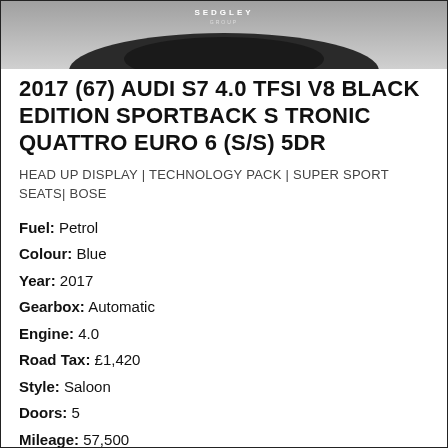[Figure (photo): Photo of a dark-coloured Audi S7 car, shot from above/front angle, partially visible at top of page. Sedgley Group logo watermark visible.]
2017 (67) AUDI S7 4.0 TFSI V8 BLACK EDITION SPORTBACK S TRONIC QUATTRO EURO 6 (S/S) 5DR
HEAD UP DISPLAY | TECHNOLOGY PACK | SUPER SPORT SEATS| BOSE
Fuel: Petrol
Colour: Blue
Year: 2017
Gearbox: Automatic
Engine: 4.0
Road Tax: £1,420
Style: Saloon
Doors: 5
Mileage: 57,500